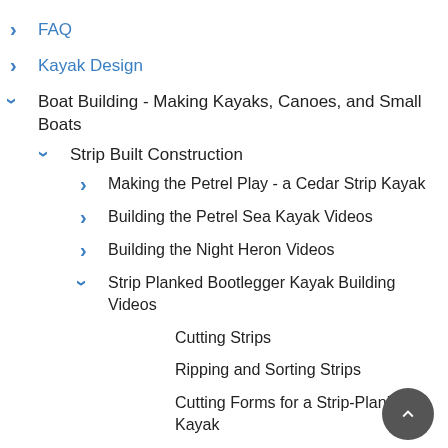FAQ
Kayak Design
Boat Building - Making Kayaks, Canoes, and Small Boats
Strip Built Construction
Making the Petrel Play - a Cedar Strip Kayak
Building the Petrel Sea Kayak Videos
Building the Night Heron Videos
Strip Planked Bootlegger Kayak Building Videos
Cutting Strips
Ripping and Sorting Strips
Cutting Forms for a Strip-Planked Kayak